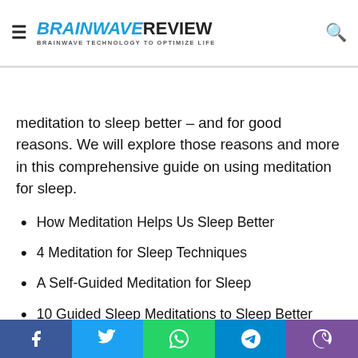BRAINWAVE REVIEW – BRAINWAVE TECHNOLOGY TO OPTIMIZE LIFE
...one free and accessible way to enhance deep rest. Many people around the world turn to meditation to sleep better – and for good reasons. We will explore those reasons and more in this comprehensive guide on using meditation for sleep.
How Meditation Helps Us Sleep Better
4 Meditation for Sleep Techniques
A Self-Guided Meditation for Sleep
10 Guided Sleep Meditations to Sleep Better
How Meditation Helps Us Sleep Better
Why is it that so many people turn to meditation to sleep